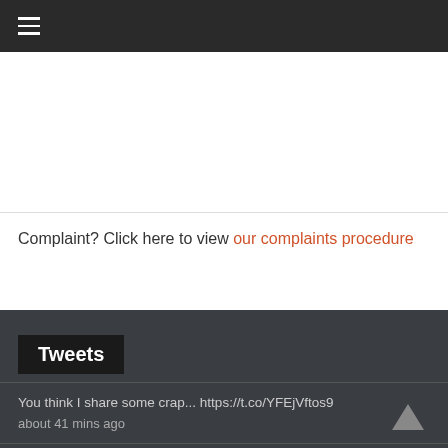≡
Complaint? Click here to view our complaints procedure
Tweets
You think I share some crap... https://t.co/YFEjVftos9
about 41 mins ago